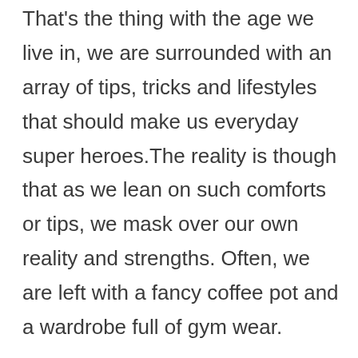That's the thing with the age we live in, we are surrounded with an array of tips, tricks and lifestyles that should make us everyday super heroes.The reality is though that as we lean on such comforts or tips, we mask over our own reality and strengths. Often, we are left with a fancy coffee pot and a wardrobe full of gym wear.

I mean these things do work to a certain